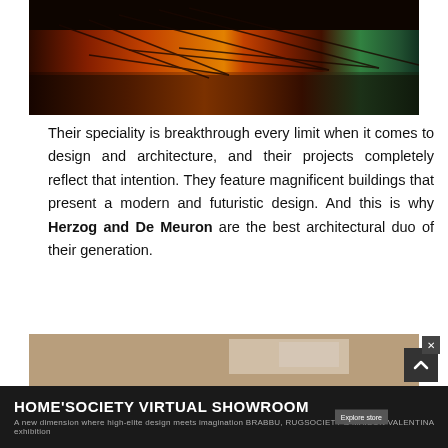[Figure (photo): Night photograph of Beijing National Stadium (Bird's Nest) illuminated with colorful lights reflecting on water]
Their speciality is breakthrough every limit when it comes to design and architecture, and their projects completely reflect that intention. They feature magnificent buildings that present a modern and futuristic design. And this is why Herzog and De Meuron are the best architectural duo of their generation.
See Also: Achille Salvagni – Modern Interior Design
[Figure (photo): Partial view of an interior design photo at the bottom of the page]
HOME'SOCIETY VIRTUAL SHOWROOM — A new dimension where high-elite design meets imagination BRABBU, RUGSOCIETY & MAISON VALENTINA exhibition